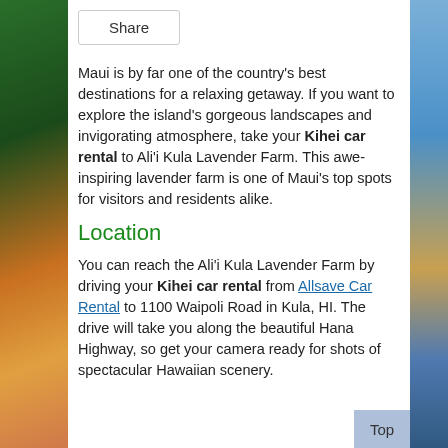Share
Maui is by far one of the country's best destinations for a relaxing getaway. If you want to explore the island's gorgeous landscapes and invigorating atmosphere, take your Kihei car rental to Ali'i Kula Lavender Farm. This awe-inspiring lavender farm is one of Maui's top spots for visitors and residents alike.
Location
You can reach the Ali'i Kula Lavender Farm by driving your Kihei car rental from Allsave Car Rental to 1100 Waipoli Road in Kula, HI. The drive will take you along the beautiful Hana Highway, so get your camera ready for shots of spectacular Hawaiian scenery.